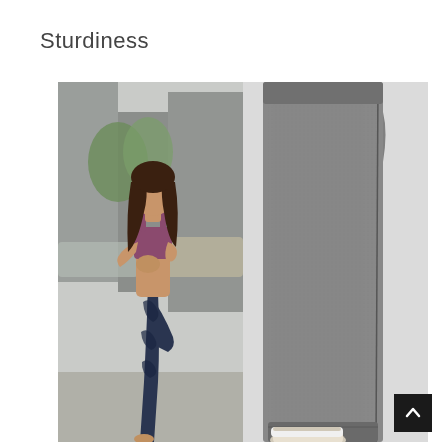Sturdiness
[Figure (photo): Two photos side by side: left photo shows a woman in a yoga tree pose wearing a purple sports bra and dark blue patterned leggings on a city street; right photo shows a close-up of gray marled jogger pants with a drawstring waist and side seam detail, paired with white sneakers.]